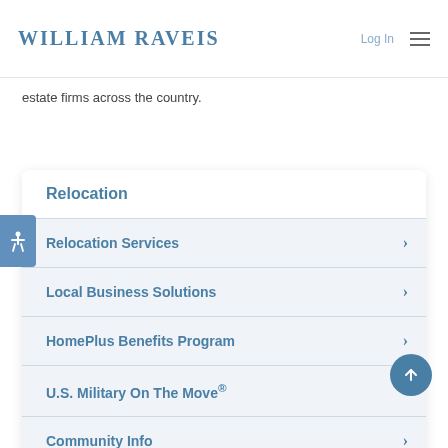WILLIAM RAVEIS
estate firms across the country.
Relocation
Relocation Services
Local Business Solutions
HomePlus Benefits Program
U.S. Military On The Move®
Community Info